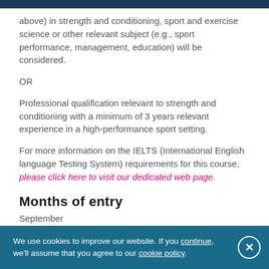above) in strength and conditioning, sport and exercise science or other relevant subject (e.g., sport performance, management, education) will be considered.
OR
Professional qualification relevant to strength and conditioning with a minimum of 3 years relevant experience in a high-performance sport setting.
For more information on the IELTS (International English language Testing System) requirements for this course, please click here to visit our dedicated web page.
Months of entry
September
We use cookies to improve our website. If you continue, we'll assume that you agree to our cookie policy.